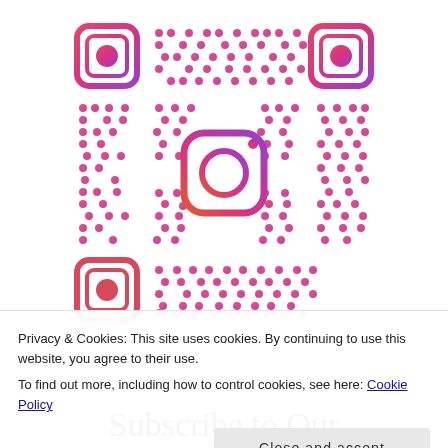[Figure (other): Instagram QR code with gradient pink/magenta dots and Instagram logo in the center. Top-left and top-right corner markers are visible, bottom-left corner marker partially visible. The QR code has a pink-to-purple gradient color scheme.]
Privacy & Cookies: This site uses cookies. By continuing to use this website, you agree to their use.
To find out more, including how to control cookies, see here: Cookie Policy
Close and accept
Subscribe to Our